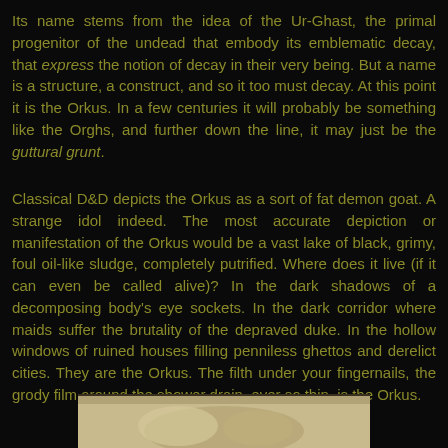Its name stems from the idea of the Ur-Ghast, the primal progenitor of the undead that embody its emblematic decay, that express the notion of decay in their very being. But a name is a structure, a construct, and so it too must decay. At this point it is the Orkus. In a few centuries it will probably be something like the Orghs, and further down the line, it may just be the guttural grunt.
Classical D&D depicts the Orkus as a sort of fat demon goat. A strange idol indeed. The most accurate depiction or manifestation of the Orkus would be a vast lake of black, grimy, foul oil-like sludge, completely putrified. Where does it live (if it can even be called alive)? In the dark shadows of a decomposing body's eye sockets. In the dark corridor where maids suffer the brutality of the depraved duke. In the hollow windows of ruined houses filling penniless ghettos and derelict cities. They are the Orkus. The filth under your fingernails, the grody film around the shower drain, ever so thin, is the Orkus.
[Figure (photo): A partial image visible at the bottom of the page, appearing to show a pale/cream colored figure or object against a dark background.]